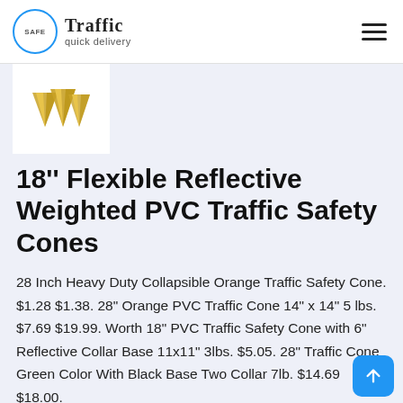Safe Traffic quick delivery
[Figure (photo): Gold/yellow decorative traffic cone product thumbnail image on white background]
18'' Flexible Reflective Weighted PVC Traffic Safety Cones
28 Inch Heavy Duty Collapsible Orange Traffic Safety Cone. $1.28 $1.38. 28" Orange PVC Traffic Cone 14" x 14" 5 lbs. $7.69 $19.99. Worth 18" PVC Traffic Safety Cone with 6" Reflective Collar Base 11x11" 3lbs. $5.05. 28" Traffic Cone Green Color With Black Base Two Collar 7lb. $14.69 $18.00.